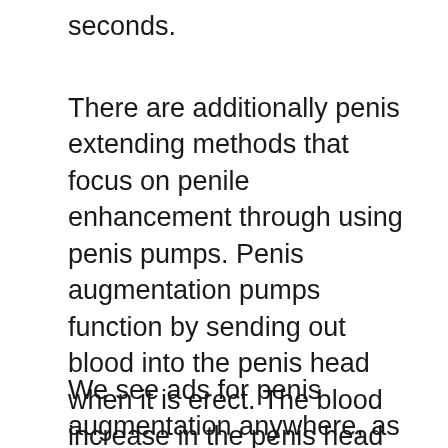seconds.
There are additionally penis extending methods that focus on penile enhancement through using penis pumps. Penis augmentation pumps function by sending out blood into the penis head when it is erect. The blood increase in the penis head will at some point trigger it to grow bigger. While these penis pumps have been commonly utilized for many years, even more specialists are currently recommending the use of natural augmentation methods like the ones pointed out over.
We see ads for penis augmentation anywhere, as well as the majority of us really feel tempted by the unverified assurances